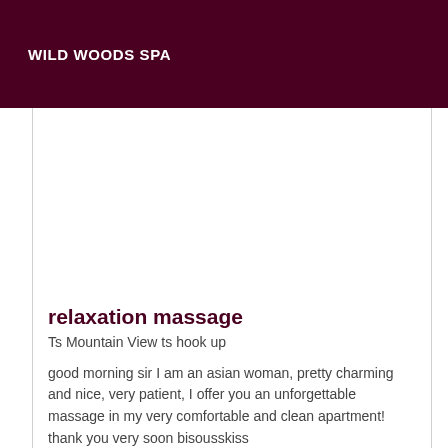WILD WOODS SPA
[Figure (photo): Large image area placeholder (white/blank space) for a listing photo]
relaxation massage
Ts Mountain View ts hook up
good morning sir I am an asian woman, pretty charming and nice, very patient, I offer you an unforgettable massage in my very comfortable and clean apartment! thank you very soon bisousskiss